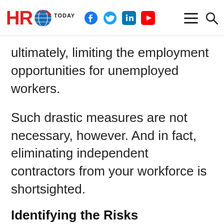HRO Today - social and navigation icons
ultimately, limiting the employment opportunities for unemployed workers.
Such drastic measures are not necessary, however. And in fact, eliminating independent contractors from your workforce is shortsighted.
Identifying the Risks
A more appropriate response is to increase the transparency across all segments of your workforce and enhance